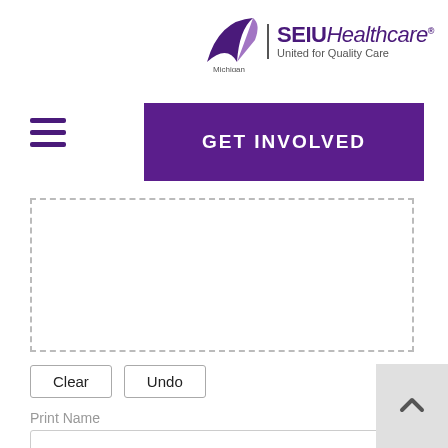[Figure (logo): SEIU Healthcare Michigan - United for Quality Care logo with arrow emblem]
[Figure (other): Hamburger menu icon (three horizontal purple lines)]
[Figure (other): Purple GET INVOLVED button]
[Figure (other): Dashed border signature input area]
Clear   Undo
Print Name
[Figure (other): Print Name text input box]
I recognize the need for a strong Union and believe that everyone represented by our Union should pay their fair share to support our Union's activities. I hereby request and voluntarily authorize my employer to deduct an